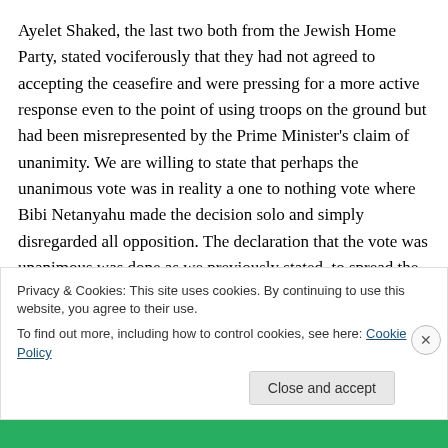Ayelet Shaked, the last two both from the Jewish Home Party, stated vociferously that they had not agreed to accepting the ceasefire and were pressing for a more active response even to the point of using troops on the ground but had been misrepresented by the Prime Minister's claim of unanimity. We are willing to state that perhaps the unanimous vote was in reality a one to nothing vote where Bibi Netanyahu made the decision solo and simply disregarded all opposition. The declaration that the vote was unanimous was done as we previously stated, to spread the blame on all the members of the
Privacy & Cookies: This site uses cookies. By continuing to use this website, you agree to their use.
To find out more, including how to control cookies, see here: Cookie Policy